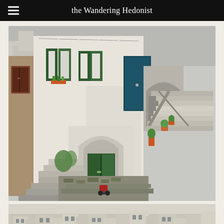the Wandering Hedonist
[Figure (photo): Stone alleyway in Matera, Italy (Sassi di Matera), showing ancient cave dwellings with white/grey limestone walls, green shuttered windows, arched doorways with green doors, stone staircases, and terracotta pots with plants. Overcast sky.]
[Figure (photo): Panoramic view of Matera, Italy showing densely packed stone buildings carved into the hillside, typical of the Sassi cave dwellings. Limestone architecture stacked on the hillside with a street lamp visible in the foreground.]